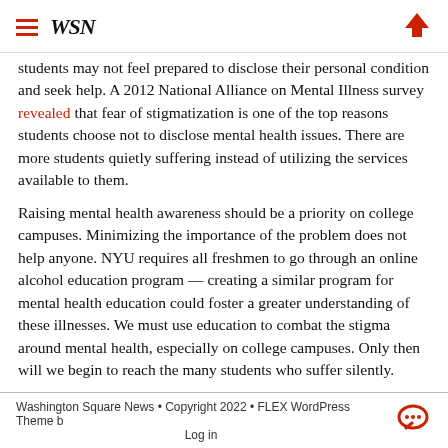WSN
students may not feel prepared to disclose their personal condition and seek help. A 2012 National Alliance on Mental Illness survey revealed that fear of stigmatization is one of the top reasons students choose not to disclose mental health issues. There are more students quietly suffering instead of utilizing the services available to them.
Raising mental health awareness should be a priority on college campuses. Minimizing the importance of the problem does not help anyone. NYU requires all freshmen to go through an online alcohol education program — creating a similar program for mental health education could foster a greater understanding of these illnesses. We must use education to combat the stigma around mental health, especially on college campuses. Only then will we begin to reach the many students who suffer silently.
A version of this article appeared in the Thursday, Sept. 25 print edition. Email Zahra Haque at opinion@nyunews.com.
Washington Square News • Copyright 2022 • FLEX WordPress Theme b
Log in